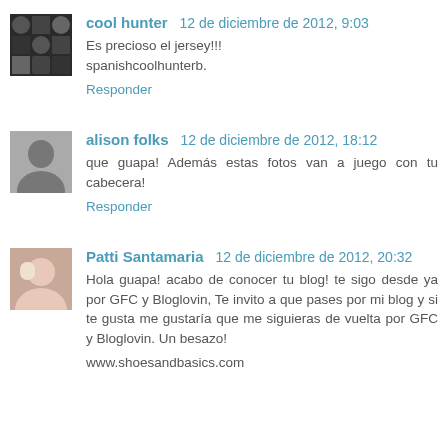cool hunter  12 de diciembre de 2012, 9:03
Es precioso el jersey!!!
spanishcoolhunterb.
Responder
alison folks  12 de diciembre de 2012, 18:12
que guapa! Además estas fotos van a juego con tu cabecera!
Responder
Patti Santamaria  12 de diciembre de 2012, 20:32
Hola guapa! acabo de conocer tu blog! te sigo desde ya por GFC y Bloglovin, Te invito a que pases por mi blog y si te gusta me gustaría que me siguieras de vuelta por GFC y Bloglovin. Un besazo!
www.shoesandbasics.com